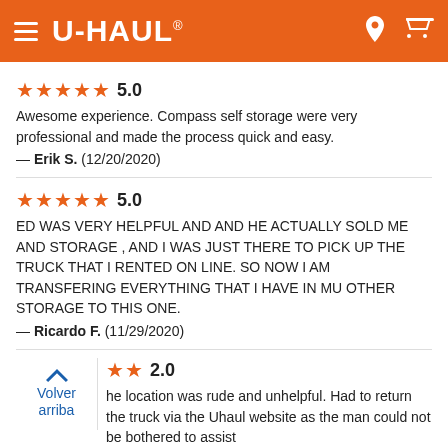U-HAUL
★★★★★ 5.0
Awesome experience. Compass self storage were very professional and made the process quick and easy.
— Erik S.  (12/20/2020)
★★★★★ 5.0
ED WAS VERY HELPFUL AND AND HE ACTUALLY SOLD ME AND STORAGE , AND I WAS JUST THERE TO PICK UP THE TRUCK THAT I RENTED ON LINE. SO NOW i AM TRANSFERING EVERYTHING THAT I HAVE IN MU OTHER STORAGE TO THIS ONE.
— Ricardo F.  (11/29/2020)
2.0
he location was rude and unhelpful. Had to return the truck via the Uhaul website as the man could not be bothered to assist